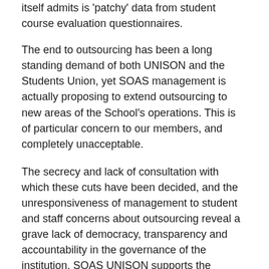itself admits is 'patchy' data from student course evaluation questionnaires.
The end to outsourcing has been a long standing demand of both UNISON and the Students Union, yet SOAS management is actually proposing to extend outsourcing to new areas of the School's operations. This is of particular concern to our members, and completely unacceptable.
The secrecy and lack of consultation with which these cuts have been decided, and the unresponsiveness of management to student and staff concerns about outsourcing reveal a grave lack of democracy, transparency and accountability in the governance of the institution. SOAS UNISON supports the occupiers in their call for the democratisation of the university's governance structure.